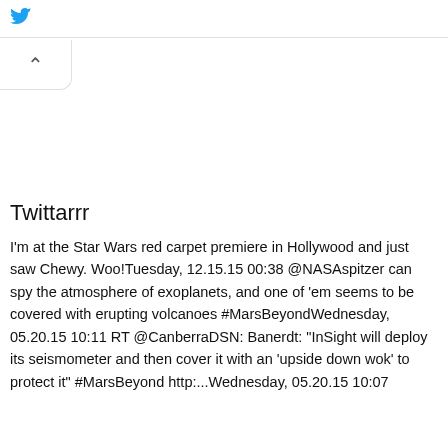Twittarrr (header bar with logo)
Twittarrr
I'm at the Star Wars red carpet premiere in Hollywood and just saw Chewy. Woo!Tuesday, 12.15.15 00:38 @NASAspitzer can spy the atmosphere of exoplanets, and one of 'em seems to be covered with erupting volcanoes #MarsBeyondWednesday, 05.20.15 10:11 RT @CanberraDSN: Banerdt: "InSight will deploy its seismometer and then cover it with an 'upside down wok' to protect it" #MarsBeyond http:...Wednesday, 05.20.15 10:07